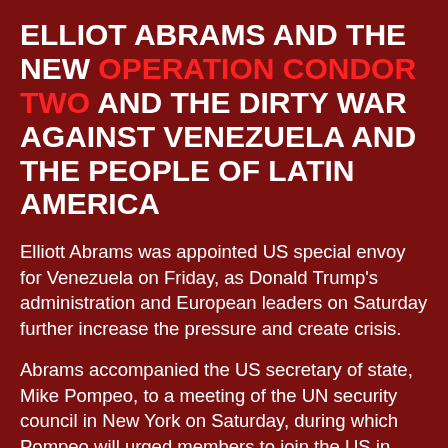ELLIOT ABRAMS AND THE NEW OPERATION CONDOR TWO AND THE DIRTY WAR AGAINST VENEZUELA AND THE PEOPLE OF LATIN AMERICA
Elliott Abrams was appointed US special envoy for Venezuela on Friday, as Donald Trump's administration and European leaders on Saturday further increase the pressure and create crisis.
Abrams accompanied the US secretary of state, Mike Pompeo, to a meeting of the UN security council in New York on Saturday, during which Pompeo will urged members to join the US in declaring Venezuela's opposition leader Juan Guaidó as the legitimate head of state.